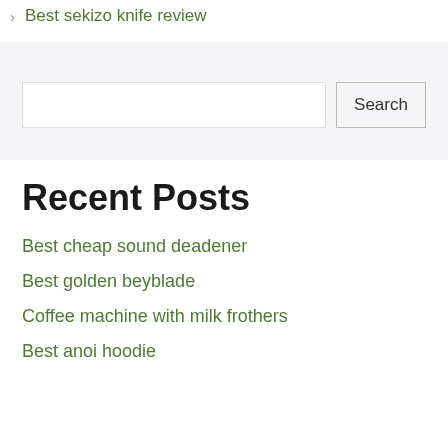Best sekizo knife review
Best cheap sound deadener
Best golden beyblade
Coffee machine with milk frothers
Best anoi hoodie
Recent Posts